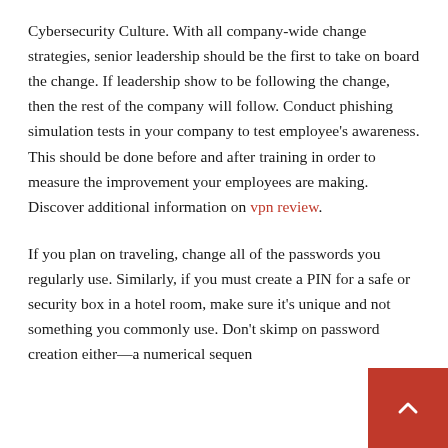Cybersecurity Culture. With all company-wide change strategies, senior leadership should be the first to take on board the change. If leadership show to be following the change, then the rest of the company will follow. Conduct phishing simulation tests in your company to test employee's awareness. This should be done before and after training in order to measure the improvement your employees are making. Discover additional information on vpn review.
If you plan on traveling, change all of the passwords you regularly use. Similarly, if you must create a PIN for a safe or security box in a hotel room, make sure it's unique and not something you commonly use. Don't skimp on password creation either—a numerical sequen...